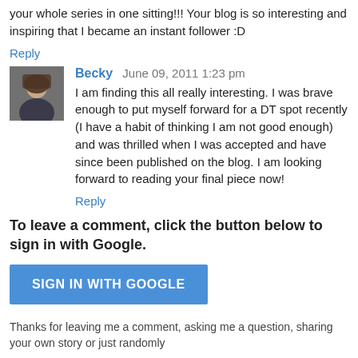your whole series in one sitting!!! Your blog is so interesting and inspiring that I became an instant follower :D
Reply
Becky  June 09, 2011 1:23 pm
I am finding this all really interesting. I was brave enough to put myself forward for a DT spot recently (I have a habit of thinking I am not good enough) and was thrilled when I was accepted and have since been published on the blog. I am looking forward to reading your final piece now!
Reply
To leave a comment, click the button below to sign in with Google.
SIGN IN WITH GOOGLE
Thanks for leaving me a comment, asking me a question, sharing your own story or just randomly